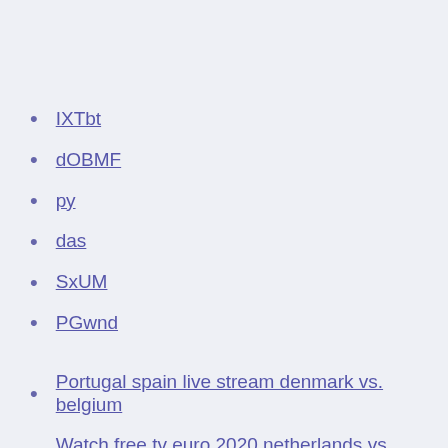IXTbt
dOBMF
ру
das
SxUM
PGwnd
Portugal spain live stream denmark vs. belgium
Watch free tv euro 2020 netherlands vs. austria
Wales fc euro qualifiers 2020 spain vs. poland